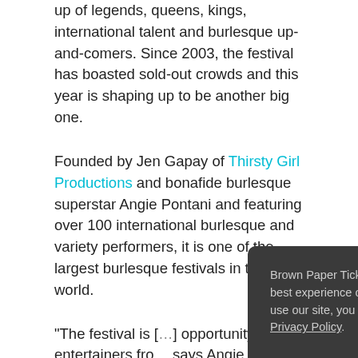up of legends, queens, kings, international talent and burlesque up-and-comers. Since 2003, the festival has boasted sold-out crowds and this year is shaping up to be another big one.
Founded by Jen Gapay of Thirsty Girl Productions and bonafide burlesque superstar Angie Pontani and featuring over 100 international burlesque and variety performers, it is one of the largest burlesque festivals in the world.
“The festival is [an] opportunity to s[ee] entertainers fro[m all over the world,”] says Angie Pon[tani. “Not only] [do] members take in five ama[zing shows, they] [can] take classes and mingle with our amazing cast of stars
Brown Paper Tickets uses cookies to provide the best experience on our website. By continuing to use our site, you agree to our Cookie Policy and Privacy Policy. Cookie Settings Accept